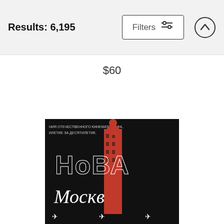Results: 6,195
$60
Moscow Mule Yoga Mat
Sd Graphics Studio
$65
[Figure (photo): Black poster with red tower/building and Cyrillic text reading 'НоВа Москв' (Nova Moskva), featuring dotted letter outlines and decorative elements]